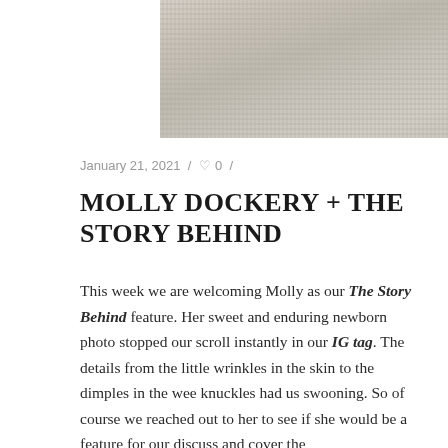[Figure (photo): Close-up texture photo of soft cream/beige knitted or textured fabric, cropped at top]
January 21, 2021 / ♡ 0 /
MOLLY DOCKERY + THE STORY BEHIND
This week we are welcoming Molly as our The Story Behind feature. Her sweet and enduring newborn photo stopped our scroll instantly in our IG tag. The details from the little wrinkles in the skin to the dimples in the wee knuckles had us swooning. So of course we reached out to her to see if she would be a feature for our discuss and cover the